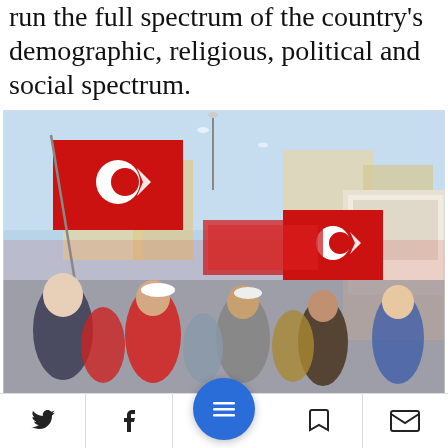run the full spectrum of the country's demographic, religious, political and social spectrum.
[Figure (photo): Crowd of supporters waving Turkish flags (red with white crescent and star) at a political rally for Ekrem Imamoglu, taken outdoors with buildings and campaign banners in the background.]
Supporters of Ekrem Imamoglu in the neighborhood of
Social share toolbar with Twitter, Facebook, menu, bookmark, and email icons